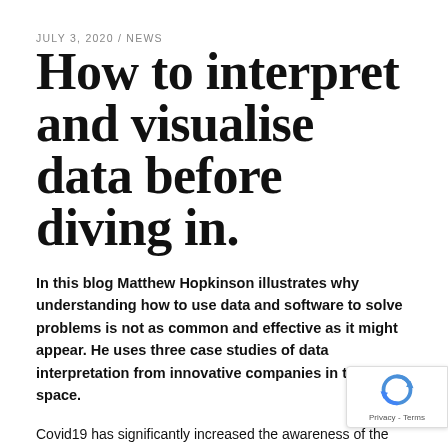JULY 3, 2020 / NEWS
How to interpret and visualise data before diving in.
In this blog Matthew Hopkinson illustrates why understanding how to use data and software to solve problems is not as common and effective as it might appear. He uses three case studies of data interpretation from innovative companies in this space.
Covid19 has significantly increased the awareness of the importance of data when making informed decisions and evidencing them to the communities affected. Covid19 has also flagged up inconsistencies